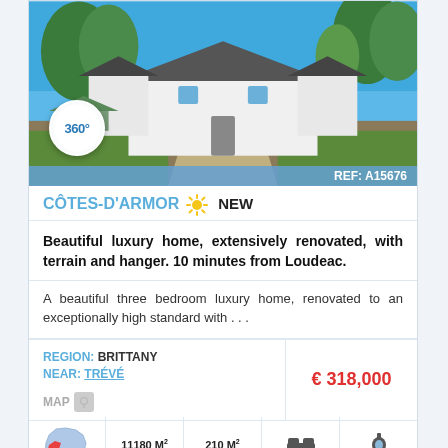[Figure (photo): Exterior photo of a white French stone farmhouse with long driveway, trees, and blue sky. A 360° badge is overlaid on the lower left.]
REF: A15676
CÔTES-D'ARMOR ☀ NEW
Beautiful luxury home, extensively renovated, with terrain and hanger. 10 minutes from Loudeac.
A beautiful three bedroom luxury home, renovated to an exceptionally high standard with . . .
REGION: BRITTANY
NEAR: TRÉVÉ
MAP
€ 318,000
11180 M² land
210 M² size
3 beds
2 baths